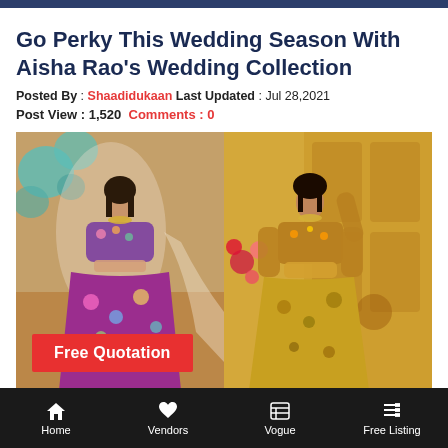Go Perky This Wedding Season With Aisha Rao's Wedding Collection
Posted By : Shaadidukaan Last Updated : Jul 28,2021
Post View : 1,520 Comments : 0
[Figure (photo): Two female models wearing Aisha Rao wedding collection. Left model in purple floral lehenga with sheer dupatta, right model in golden/yellow printed lehenga against golden door backdrop.]
Home | Vendors | Vogue | Free Listing